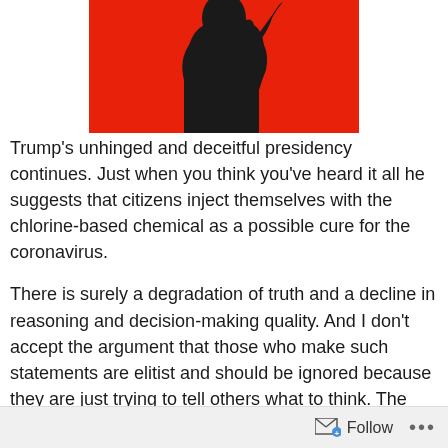[Figure (illustration): Red background image with black silhouette of a person/hand figure at the top center of the page]
Trump's unhinged and deceitful presidency continues. Just when you think you've heard it all he suggests that citizens inject themselves with the chlorine-based chemical as a possible cure for the coronavirus.
There is surely a degradation of truth and a decline in reasoning and decision-making quality. And I don't accept the argument that those who make such statements are elitist and should be ignored because they are just trying to tell others what to think. The attack on others as elitist is an emotional way to gain ground in an argument without having to do the hard work of evidence-based reasoning. Satire, humor, and innuendo have replaced some
Follow ...